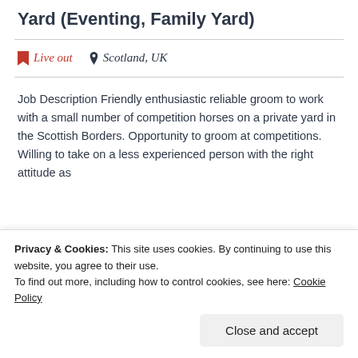Yard (Eventing, Family Yard)
Live out   Scotland, UK
Job Description Friendly enthusiastic reliable groom to work with a small number of competition horses on a private yard in the Scottish Borders. Opportunity to groom at competitions. Willing to take on a less experienced person with the right attitude as
View more
Privacy & Cookies: This site uses cookies. By continuing to use this website, you agree to their use.
To find out more, including how to control cookies, see here: Cookie Policy
Close and accept